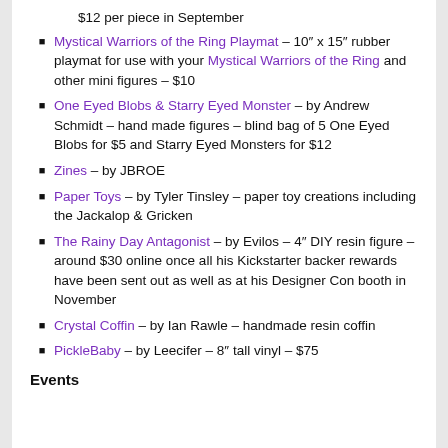$12 per piece in September
Mystical Warriors of the Ring Playmat – 10" x 15" rubber playmat for use with your Mystical Warriors of the Ring and other mini figures – $10
One Eyed Blobs & Starry Eyed Monster – by Andrew Schmidt – hand made figures – blind bag of 5 One Eyed Blobs for $5 and Starry Eyed Monsters for $12
Zines – by JBROE
Paper Toys – by Tyler Tinsley – paper toy creations including the Jackalop & Gricken
The Rainy Day Antagonist – by Evilos – 4" DIY resin figure – around $30 online once all his Kickstarter backer rewards have been sent out as well as at his Designer Con booth in November
Crystal Coffin – by Ian Rawle – handmade resin coffin
PickleBaby – by Leecifer – 8" tall vinyl – $75
Events